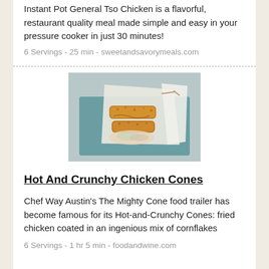Instant Pot General Tso Chicken is a flavorful, restaurant quality meal made simple and easy in your pressure cooker in just 30 minutes!
6 Servings - 25 min - sweetandsavorymeals.com
[Figure (photo): Photo of fried chicken cones wrapped in white paper served on a teal plate]
Hot And Crunchy Chicken Cones
Chef Way Austin's The Mighty Cone food trailer has become famous for its Hot-and-Crunchy Cones: fried chicken coated in an ingenious mix of cornflakes
6 Servings - 1 hr 5 min - foodandwine.com